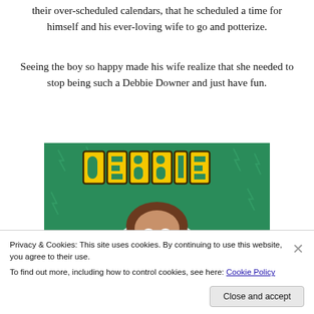their over-scheduled calendars, that he scheduled a time for himself and his ever-loving wife to go and potterize.
Seeing the boy so happy made his wife realize that she needed to stop being such a Debbie Downer and just have fun.
[Figure (photo): Image showing the word DEBBIE in large yellow block letters on a green background, with a woman's face (eyes visible above the frame bottom) looking upward — a still from the SNL Debbie Downer sketch.]
Privacy & Cookies: This site uses cookies. By continuing to use this website, you agree to their use.
To find out more, including how to control cookies, see here: Cookie Policy